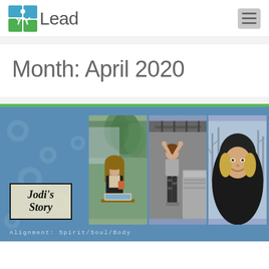4Lead
Month: April 2020
[Figure (photo): Article card with blue background, green top border, floral watermark pattern, three photos of a woman (working at cafe, doing pilates/exercise, outdoor portrait in black jacket), and a stylized 'Jodi's Story' text box. Caption reads 'Alignment: Spirit/Soul/Body'.]